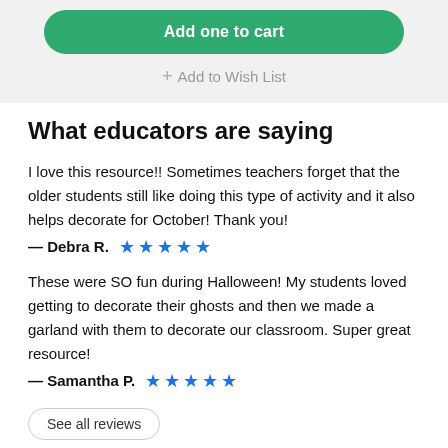Add one to cart
+ Add to Wish List
What educators are saying
I love this resource!! Sometimes teachers forget that the older students still like doing this type of activity and it also helps decorate for October! Thank you!
— Debra R. ★★★★★
These were SO fun during Halloween! My students loved getting to decorate their ghosts and then we made a garland with them to decorate our classroom. Super great resource!
— Samantha P. ★★★★★
See all reviews